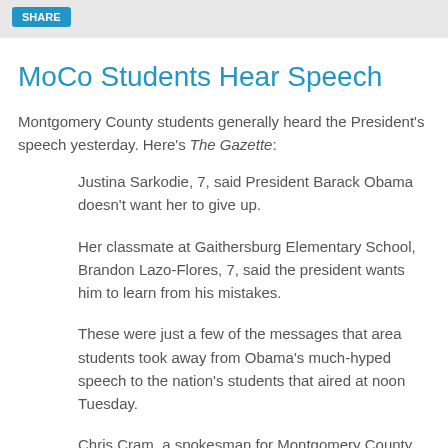MoCo Students Hear Speech
Montgomery County students generally heard the President's speech yesterday. Here's The Gazette:
Justina Sarkodie, 7, said President Barack Obama doesn't want her to give up.
Her classmate at Gaithersburg Elementary School, Brandon Lazo-Flores, 7, said the president wants him to learn from his mistakes.
These were just a few of the messages that area students took away from Obama's much-hyped speech to the nation's students that aired at noon Tuesday.
Chris Cram, a spokesman for Montgomery County Public Schools, said it was left up to principals whether their schools would show…